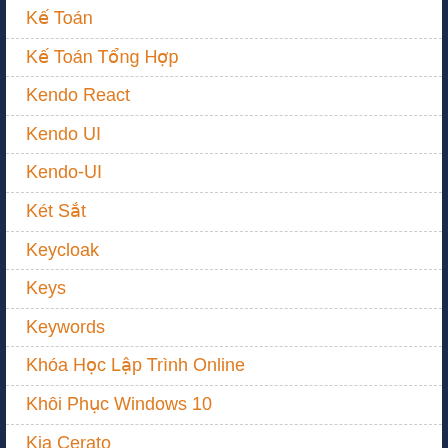Kế Toán
Kế Toán Tổng Hợp
Kendo React
Kendo UI
Kendo-UI
Két Sắt
Keycloak
Keys
Keywords
Khóa Học Lập Trình Online
Khôi Phục Windows 10
Kia Cerato
Kia Cerato 2020
Kia Soluto
Kiểm Thử Phần Mềm
Kiến Trúc Của Những Trang Chịu Tải Lớn